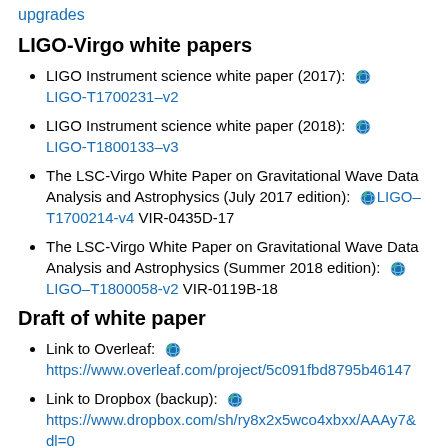upgrades
LIGO-Virgo white papers
LIGO Instrument science white paper (2017): 🌐 LIGO-T1700231–v2
LIGO Instrument science white paper (2018): 🌐 LIGO-T1800133–v3
The LSC-Virgo White Paper on Gravitational Wave Data Analysis and Astrophysics (July 2017 edition): 🌐 LIGO–T1700214-v4 VIR-0435D-17
The LSC-Virgo White Paper on Gravitational Wave Data Analysis and Astrophysics (Summer 2018 edition): 🌐 LIGO–T1800058-v2 VIR-0119B-18
Draft of white paper
Link to Overleaf: 🌐 https://www.overleaf.com/project/5c091fbd8795b46147
Link to Dropbox (backup): 🌐 https://www.dropbox.com/sh/ry8x2x5wco4xbxx/AAAy7… dl=0